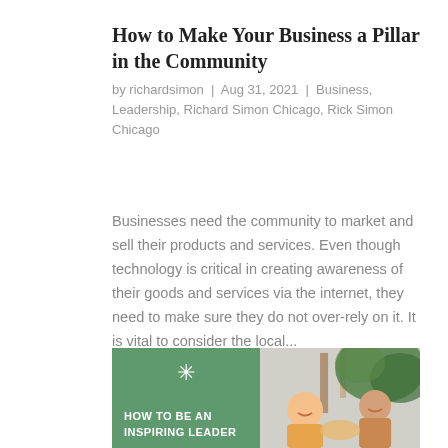How to Make Your Business a Pillar in the Community
by richardsimon | Aug 31, 2021 | Business, Leadership, Richard Simon Chicago, Rick Simon Chicago
Businesses need the community to market and sell their products and services. Even though technology is critical in creating awareness of their goods and services via the internet, they need to make sure they do not over-rely on it. It is vital to consider the local...
[Figure (illustration): Split image: left half is a green panel with a white star/asterisk symbol and text 'HOW TO BE AN INSPIRING LEADER' in white uppercase letters; right half shows a photograph of people smiling and shaking hands with greenery in the background.]